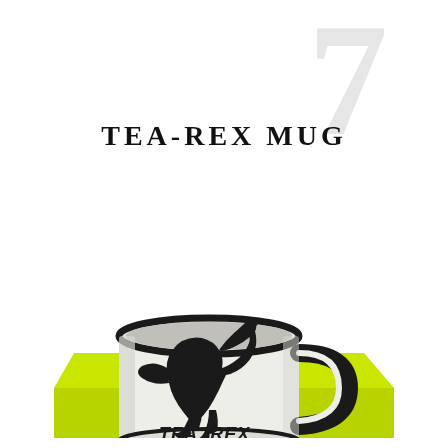TEA-REX MUG
[Figure (photo): A white ceramic mug with black rim and handle, sitting on a bright yellow-green surface. The mug features a black silhouette of a T-Rex dinosaur holding a small teacup, with the text 'TEA-REX' printed below the dinosaur in black handwritten-style font.]